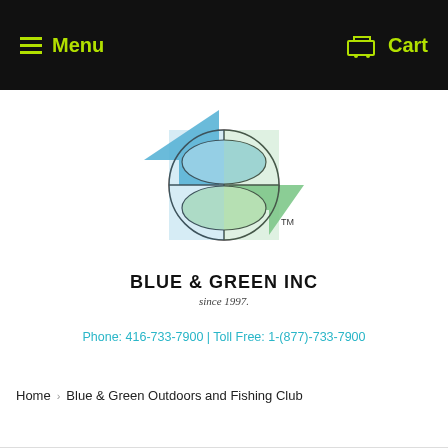Menu  Cart
[Figure (logo): Blue & Green Inc logo with two opposing arrows (blue left, green right) overlapping a globe-like shape with fish eye lens shapes, TM mark]
BLUE & GREEN INC
since 1997.
Phone: 416-733-7900 | Toll Free: 1-(877)-733-7900
Home › Blue & Green Outdoors and Fishing Club